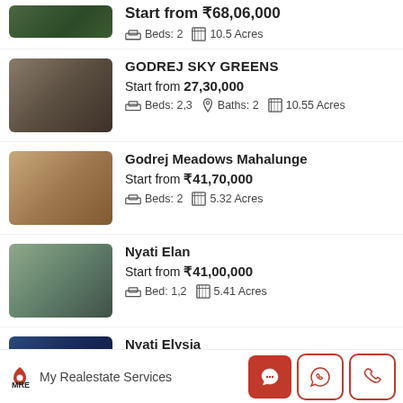Start from ₹68,06,000 | Beds: 2 | 10.5 Acres
GODREJ SKY GREENS
Start from 27,30,000 | Beds: 2,3 | Baths: 2 | 10.55 Acres
Godrej Meadows Mahalunge
Start from ₹41,70,000 | Beds: 2 | 5.32 Acres
Nyati Elan
Start from ₹41,00,000 | Bed: 1,2 | 5.41 Acres
Nyati Elysia
MRE My Realestate Services